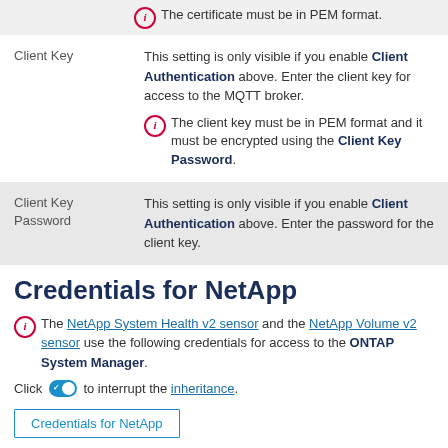The certificate must be in PEM format.
| Field | Description |
| --- | --- |
| Client Key | This setting is only visible if you enable Client Authentication above. Enter the client key for access to the MQTT broker. The client key must be in PEM format and it must be encrypted using the Client Key Password. |
| Client Key Password | This setting is only visible if you enable Client Authentication above. Enter the password for the client key. |
Credentials for NetApp
The NetApp System Health v2 sensor and the NetApp Volume v2 sensor use the following credentials for access to the ONTAP System Manager.
Click to interrupt the inheritance.
Credentials for NetApp